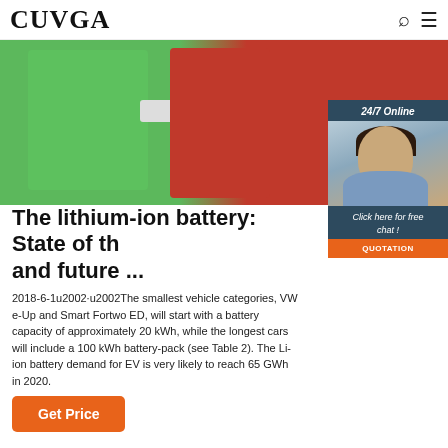CUVGA
[Figure (photo): Green and orange battery modules with connector, product photo for lithium-ion battery article]
[Figure (photo): 24/7 Online chat widget with a smiling female customer service representative wearing a headset, with 'Click here for free chat!' text and QUOTATION button]
The lithium-ion battery: State of th and future ...
2018-6-1u2002·u2002The smallest vehicle categories, VW e-Up and Smart Fortwo ED, will start with a battery capacity of approximately 20 kWh, while the longest cars will include a 100 kWh battery-pack (see Table 2). The Li-ion battery demand for EV is very likely to reach 65 GWh in 2020.
Get Price